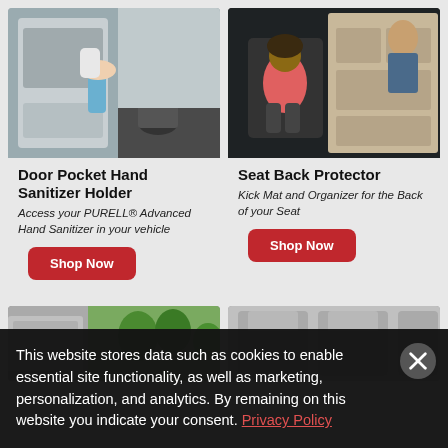[Figure (photo): Person placing hand sanitizer bottle in car door pocket, car door open, legs visible outside vehicle]
Door Pocket Hand Sanitizer Holder
Access your PURELL® Advanced Hand Sanitizer in your vehicle
[Figure (photo): Child sitting in car seat with seat back protector/kick mat organizer visible, another child in background]
Seat Back Protector
Kick Mat and Organizer for the Back of your Seat
[Figure (photo): Partial bottom-left product photo showing car interior with green outdoor background]
[Figure (photo): Partial bottom-right product photo showing car seats interior]
This website stores data such as cookies to enable essential site functionality, as well as marketing, personalization, and analytics. By remaining on this website you indicate your consent. Privacy Policy